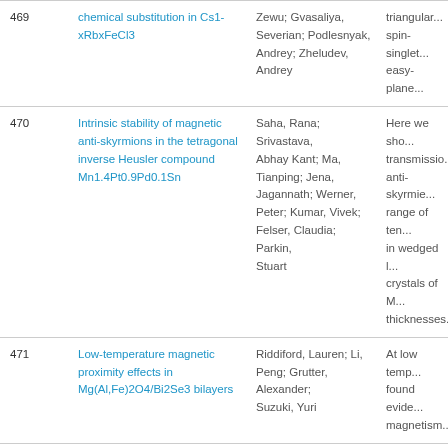| # | Title | Authors | Abstract |
| --- | --- | --- | --- |
| 469 | chemical substitution in Cs1-xRbxFeCl3 | Zewu; Gvasaliya, Severian; Podlesnyak, Andrey; Zheludev, Andrey | triangular... spin-singlet... easy-plane... |
| 470 | Intrinsic stability of magnetic anti-skyrmions in the tetragonal inverse Heusler compound Mn1.4Pt0.9Pd0.1Sn | Saha, Rana; Srivastava, Abhay Kant; Ma, Tianping; Jena, Jagannath; Werner, Peter; Kumar, Vivek; Felser, Claudia; Parkin, Stuart | Here we sho... transmission... anti-skyrmie... range of tem... in wedged l... crystals of M... thicknesses... |
| 471 | Low-temperature magnetic proximity effects in Mg(Al,Fe)2O4/Bi2Se3 bilayers | Riddiford, Lauren; Li, Peng; Grutter, Alexander; Suzuki, Yuri | At low temp... found evide... magnetism... |
| 472 | Exotic coupling in garnet... | Quarterman, Patrick; | In this work... YIG to Py ar... |